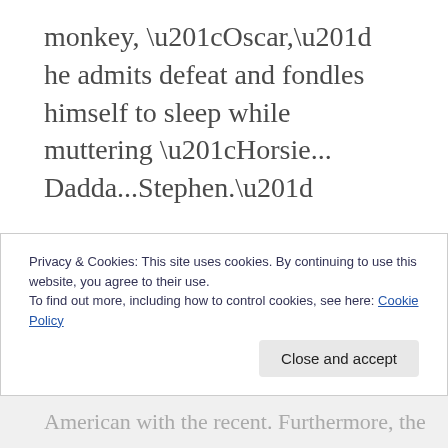monkey, “Oscar,” he admits defeat and fondles himself to sleep while muttering “Horsie… Dadda…Stephen.”
The Wolfes belong to a class largely exempt from the impact of the Great Depression. At a time when shantytowns, or Hoovervilles, line the riverbanks of Manhattan, the Wolfes continue to enjoy summers in a resort community along the Jersey Shore and maintain hired help in their apartment on the
Privacy & Cookies: This site uses cookies. By continuing to use this website, you agree to their use.
To find out more, including how to control cookies, see here: Cookie Policy
Close and accept